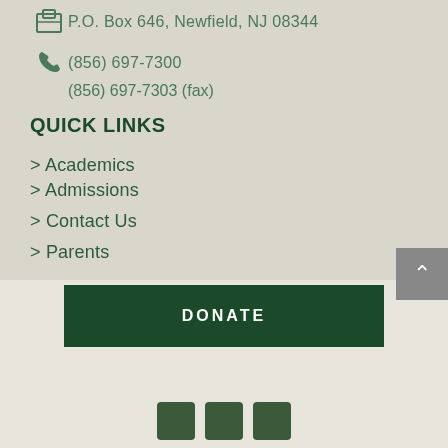P.O. Box 646, Newfield, NJ 08344
(856) 697-7300
(856) 697-7303 (fax)
QUICK LINKS
> Academics
> Admissions
> Contact Us
> Parents
DONATE